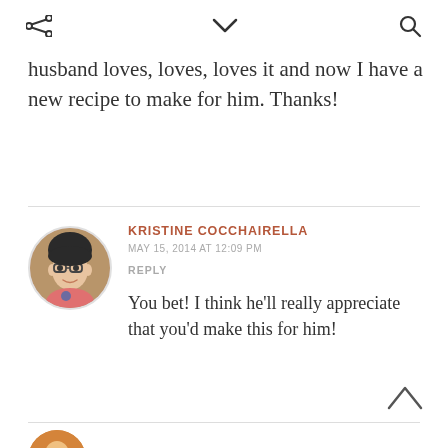share / chevron / search icons
husband loves, loves, loves it and now I have a new recipe to make for him. Thanks!
KRISTINE COCCHAIRELLA
MAY 15, 2014 AT 12:09 PM
REPLY
You bet! I think he'll really appreciate that you'd make this for him!
[Figure (photo): Round avatar photo of Kristine Cocchairella, a woman with glasses wearing a pink top]
[Figure (photo): Partial round avatar at bottom of page, orange/brown colored]